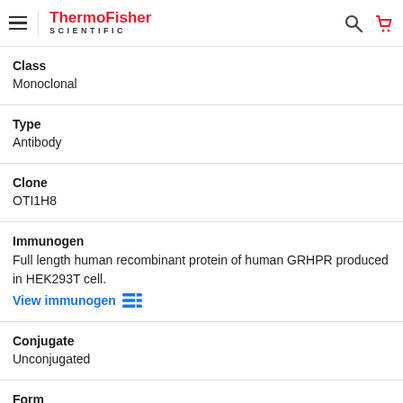ThermoFisher SCIENTIFIC
Class
Monoclonal
Type
Antibody
Clone
OTI1H8
Immunogen
Full length human recombinant protein of human GRHPR produced in HEK293T cell.
View immunogen
Conjugate
Unconjugated
Form